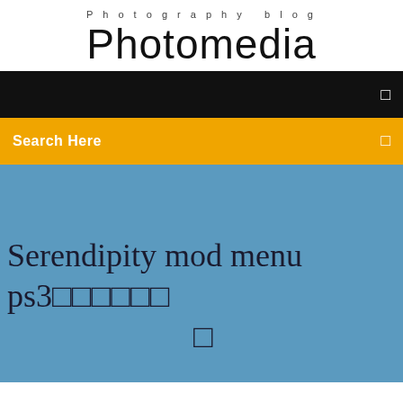Photography blog
Photomedia
[Figure (screenshot): Black navigation bar with white menu icon on right]
[Figure (screenshot): Yellow/amber search bar with 'Search Here' text in white on left and white icon on right]
Serendipity mod menu ps3ᅠᅠᅠᅠᅠᅠ ᅠ